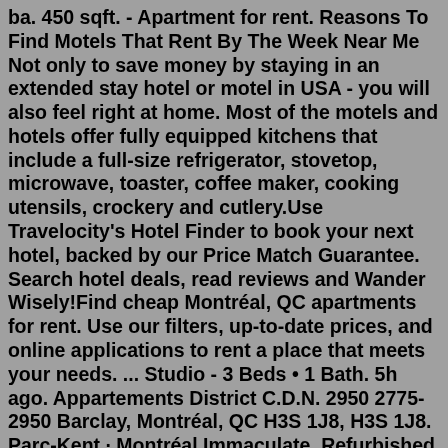ba. 450 sqft. - Apartment for rent. Reasons To Find Motels That Rent By The Week Near Me Not only to save money by staying in an extended stay hotel or motel in USA - you will also feel right at home. Most of the motels and hotels offer fully equipped kitchens that include a full-size refrigerator, stovetop, microwave, toaster, coffee maker, cooking utensils, crockery and cutlery.Use Travelocity's Hotel Finder to book your next hotel, backed by our Price Match Guarantee. Search hotel deals, read reviews and Wander Wisely!Find cheap Montréal, QC apartments for rent. Use our filters, up-to-date prices, and online applications to rent a place that meets your needs. ... Studio - 3 Beds • 1 Bath. 5h ago. Appartements District C.D.N. 2950 2775-2950 Barclay, Montréal, QC H3S 1J8, H3S 1J8. Parc-Kent · Montréal.Immaculate, Refurbished & Furnished Condo for Rent in Villamar Condos, Vero Beach. in Retirement Homes For Rent, Condos | Townhouses For Rent in 55 Over Communities, 55+ Seasonal Rentals, Short Term Rentals | Seasonal Homes 55+